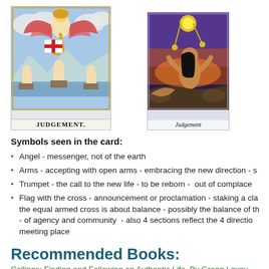[Figure (illustration): Two tarot cards side by side: left card shows 'JUDGEMENT' from Rider-Waite tarot with angel blowing trumpet over rising figures, right card shows 'Judgement' from another tarot deck with a woman figure and celestial imagery.]
Symbols seen in the card:
Angel - messenger, not of the earth
Arms - accepting with open arms - embracing the new direction - s
Trumpet - the call to the new life - to be reborn - out of complace
Flag with the cross - announcement or proclamation - staking a cla the equal armed cross is about balance - possibly the balance of th - of agency and community - also 4 sections reflect the 4 directio meeting place
Recommended Books:
Callings: Finding and Following an Authentic Life By Gregg Levoy